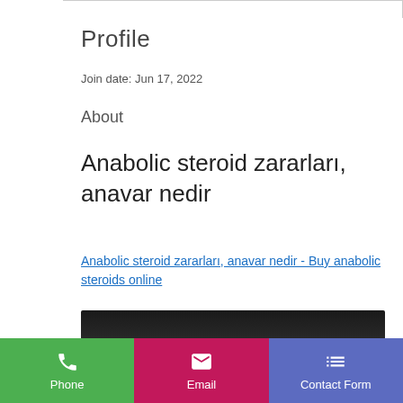Profile
Join date: Jun 17, 2022
About
Anabolic steroid zararları, anavar nedir
Anabolic steroid zararları, anavar nedir - Buy anabolic steroids online
[Figure (photo): Dark blurred image, appears to be a product or scene with dark background]
Phone | Email | Contact Form